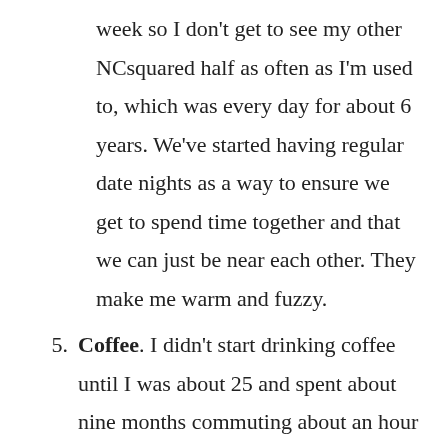week so I don't get to see my other NCsquared half as often as I'm used to, which was every day for about 6 years. We've started having regular date nights as a way to ensure we get to spend time together and that we can just be near each other. They make me warm and fuzzy.
Coffee. I didn't start drinking coffee until I was about 25 and spent about nine months commuting about an hour to my job. In order to avoid heavy traffic, I would get up early and leave early. I've never really been a morning person so I